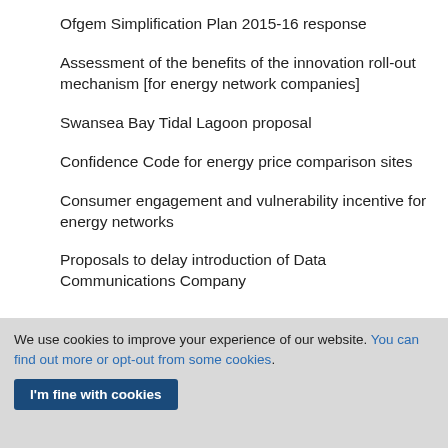Ofgem Simplification Plan 2015-16 response
Assessment of the benefits of the innovation roll-out mechanism [for energy network companies]
Swansea Bay Tidal Lagoon proposal
Confidence Code for energy price comparison sites
Consumer engagement and vulnerability incentive for energy networks
Proposals to delay introduction of Data Communications Company
We use cookies to improve your experience of our website. You can find out more or opt-out from some cookies.
I'm fine with cookies